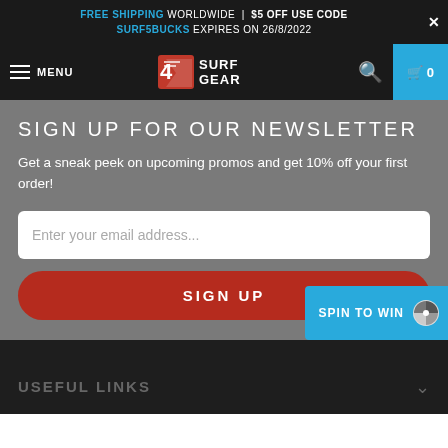FREE SHIPPING WORLDWIDE | $5 OFF USE CODE SURF5BUCKS EXPIRES ON 26/8/2022
[Figure (logo): Surf Gear logo with hamburger menu and cart navigation bar]
SIGN UP FOR OUR NEWSLETTER
Get a sneak peek on upcoming promos and get 10% off your first order!
Enter your email address...
SIGN UP
SPIN TO WIN
USEFUL LINKS